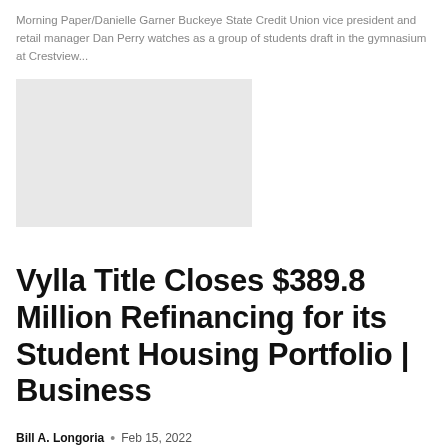Morning Paper/Danielle Garner Buckeye State Credit Union vice president and retail manager Dan Perry watches as a group of students draft in the gymnasium at Crestview...
[Figure (photo): A light gray rectangular placeholder image representing a photograph of students drafting in the gymnasium at Crestview]
Vylla Title Closes $389.8 Million Refinancing for its Student Housing Portfolio | Business
Bill A. Longoria  •  Feb 15, 2022